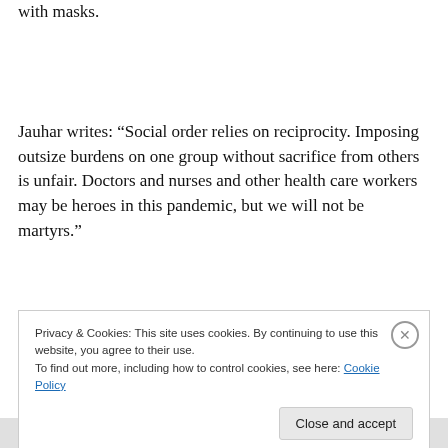with masks.
Jauhar writes: “Social order relies on reciprocity. Imposing outsize burdens on one group without sacrifice from others is unfair. Doctors and nurses and other health care workers may be heroes in this pandemic, but we will not be martyrs.”
When I bring up Jauhar’s article to DH, he frames the
Privacy & Cookies: This site uses cookies. By continuing to use this website, you agree to their use.
To find out more, including how to control cookies, see here: Cookie Policy
Close and accept